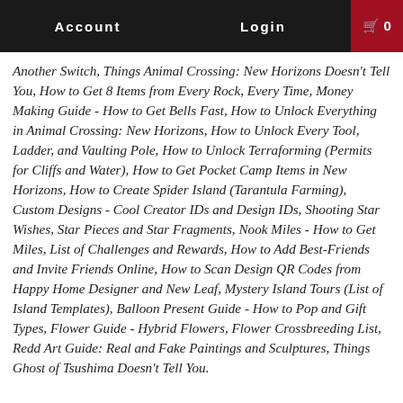Account   Login   🛒 0
Another Switch, Things Animal Crossing: New Horizons Doesn't Tell You, How to Get 8 Items from Every Rock, Every Time, Money Making Guide - How to Get Bells Fast, How to Unlock Everything in Animal Crossing: New Horizons, How to Unlock Every Tool, Ladder, and Vaulting Pole, How to Unlock Terraforming (Permits for Cliffs and Water), How to Get Pocket Camp Items in New Horizons, How to Create Spider Island (Tarantula Farming), Custom Designs - Cool Creator IDs and Design IDs, Shooting Star Wishes, Star Pieces and Star Fragments, Nook Miles - How to Get Miles, List of Challenges and Rewards, How to Add Best-Friends and Invite Friends Online, How to Scan Design QR Codes from Happy Home Designer and New Leaf, Mystery Island Tours (List of Island Templates), Balloon Present Guide - How to Pop and Gift Types, Flower Guide - Hybrid Flowers, Flower Crossbreeding List, Redd Art Guide: Real and Fake Paintings and Sculptures, Things Ghost of Tsushima Doesn't Tell You.